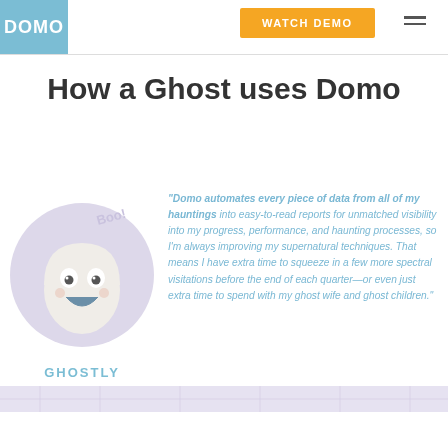DOMO | WATCH DEMO
How a Ghost uses Domo
[Figure (illustration): Cartoon ghost character with big eyes and open mouth smile, inside a light purple circle, with 'Boo!' text above. Labeled 'GHOSTLY' below.]
"Domo automates every piece of data from all of my hauntings into easy-to-read reports for unmatched visibility into my progress, performance, and haunting processes, so I'm always improving my supernatural techniques. That means I have extra time to squeeze in a few more spectral visitations before the end of each quarter—or even just extra time to spend with my ghost wife and ghost children."